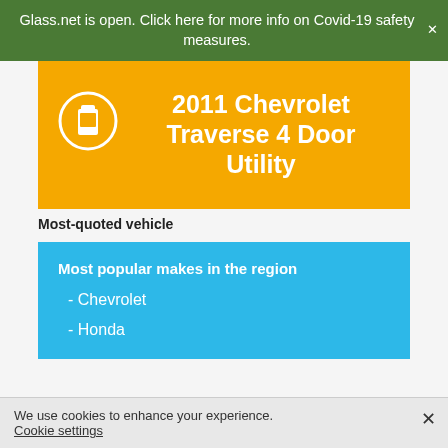Glass.net is open. Click here for more info on Covid-19 safety measures.
[Figure (illustration): Orange card with white car/windshield icon and bold white text reading '2011 Chevrolet Traverse 4 Door Utility']
Most-quoted vehicle
Most popular makes in the region
- Chevrolet
- Honda
We use cookies to enhance your experience.
Cookie settings